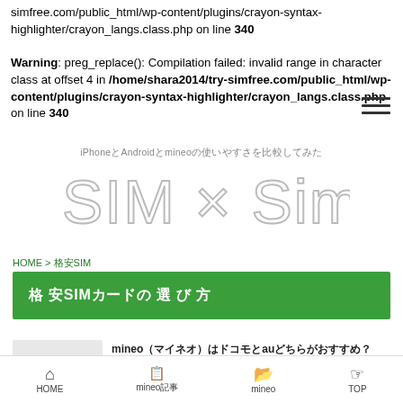simfree.com/public_html/wp-content/plugins/crayon-syntax-highlighter/crayon_langs.class.php on line 340

Warning: preg_replace(): Compilation failed: invalid range in character class at offset 4 in /home/shara2014/try-simfree.com/public_html/wp-content/plugins/crayon-syntax-highlighter/crayon_langs.class.php on line 340
[Figure (other): Hamburger menu icon (three horizontal lines)]
iPhoneとAndroidとmineoの使いやすさを比較してみた
SIM × SimFree
HOME > 格安SIM
格 安SIMカードの 選 び 方
mineo（マイネオ）はドコモとauどちらがおすすめ？
HOME mineo記事 mineo TOP